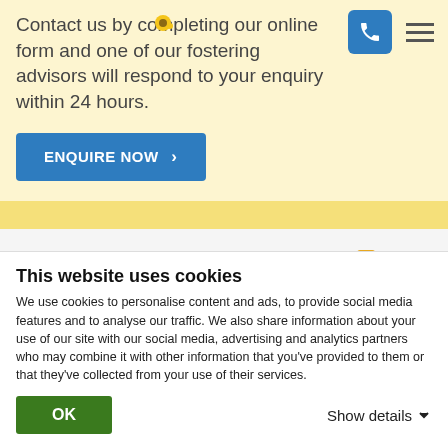Contact us by completing our online form and one of our fostering advisors will respond to your enquiry within 24 hours.
ENQUIRE NOW ›
Call us
Contact us by phone and one of our
This website uses cookies
We use cookies to personalise content and ads, to provide social media features and to analyse our traffic. We also share information about your use of our site with our social media, advertising and analytics partners who may combine it with other information that you've provided to them or that they've collected from your use of their services.
OK
Show details